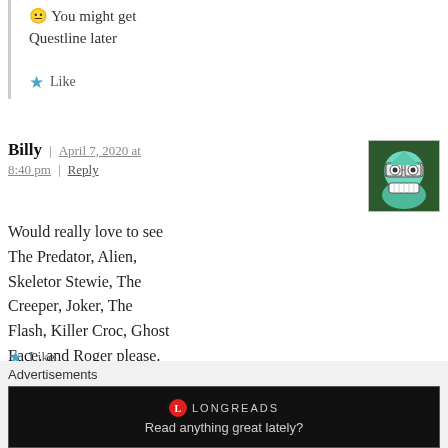You might get Questline later
Like
Billy | April 7, 2020 at 8:40 pm | Reply
[Figure (illustration): Avatar image of a cartoon character: a smiling robot/alien face with glasses, green and teal coloring on a dark green background]
Would really love to see The Predator, Alien, Skeletor Stewie, The Creeper, Joker, The Flash, Killer Croc, Ghost Face, and Roger please. 🙂
Like
Advertisements
[Figure (screenshot): Longreads advertisement banner with black background showing Longreads logo and tagline 'Read anything great lately?']